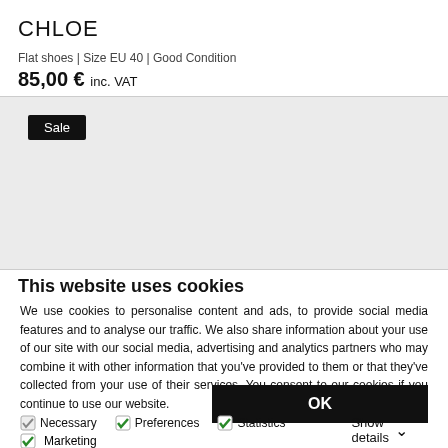CHLOE
Flat shoes | Size EU 40 | Good Condition
85,00 € inc. VAT
[Figure (other): Light grey image placeholder area with a black 'Sale' badge button in the top-left corner]
This website uses cookies
We use cookies to personalise content and ads, to provide social media features and to analyse our traffic. We also share information about your use of our site with our social media, advertising and analytics partners who may combine it with other information that you've provided to them or that they've collected from your use of their services. You consent to our cookies if you continue to use our website.
OK
Necessary  Preferences  Statistics  Marketing  Show details